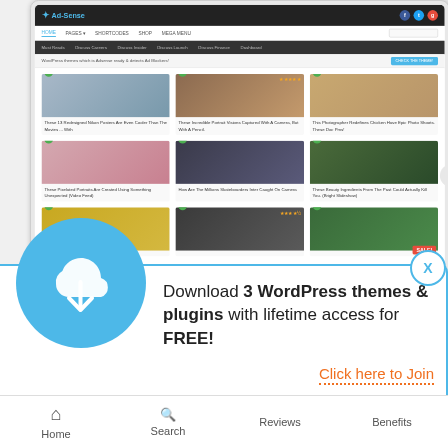[Figure (screenshot): Screenshot of Ad-Sense WordPress theme website displayed on a tablet device, showing a blog-style layout with 3-column image grid, navigation bars, and category headers]
Download 3 WordPress themes & plugins with lifetime access for FREE!
Click here to Join
Home   Search   Reviews   Benefits